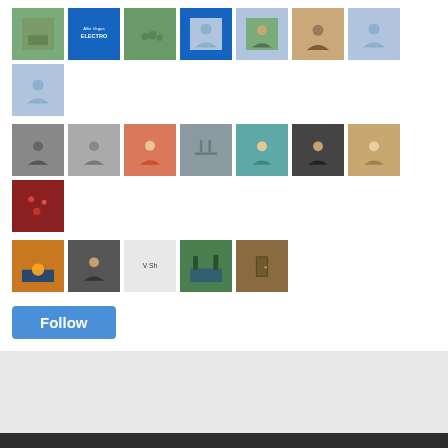[Figure (screenshot): Grid of follower avatar thumbnails - row 1: landscape photo, Allin Vegas Electro blue tile, crowd/festival photo, blue placeholder icon, person hiking photo, brunette woman photo, blue placeholder icon, blue placeholder icon]
[Figure (screenshot): Grid row 2: woman with glasses, black and white woman portrait, blonde woman in red top, dock/pier photo, woman in teal top, woman in dark top, blonde woman portrait, red/lights photo]
[Figure (screenshot): Grid row 3: sunset landscape, dark-haired woman, V Sh text placeholder, lake/forest landscape, person at doorway]
Follow
POPULAR POSTS
[Figure (photo): Circular thumbnail of newborn baby]
A Letter to My New Nephew
Dear baby Will, I can't believe you